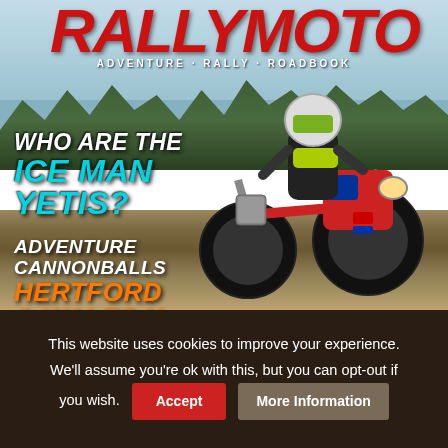[Figure (photo): RallyMoto magazine cover featuring a motorcyclist on an adventure bike riding on a dirt trail with a forested mountain lake in the background. The magazine logo 'RALLYMOTO' appears at the top in large red italic letters with tagline 'ADVENTURE · RALLY · ROADBOOK'. Cover text includes 'WHO ARE THE ICE MAN YETIS?' in white and cyan, and 'ADVENTURE CANNONBALLS HERTFORD & WALES X' in white and orange.]
RALLYMOTO
ADVENTURE · RALLY · ROADBOOK
WHO ARE THE ICE MAN YETIS?
ADVENTURE CANNONBALLS HERTFORD & WALES X
This website uses cookies to improve your experience. We'll assume you're ok with this, but you can opt-out if you wish.
Accept
More Information